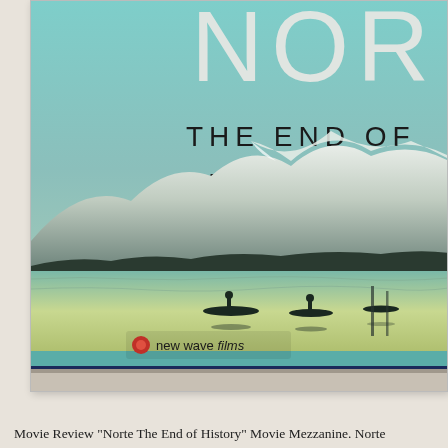[Figure (photo): Partial view of a DVD or Blu-ray cover for the film 'Norte, The End of History' directed by Lav Diaz. The cover shows the large text 'NOR' (cropped), 'THE END OF' (cropped), 'A FILM BY LAV D' (cropped). The lower portion features a serene landscape with a lake, mountains with snow-capped peaks, silhouettes of people in boats on calm water, with a teal/blue-green color palette. The New Wave Films logo appears in the lower left of the cover. The physical disc case is shown at an angle on a beige/tan surface.]
Movie Review "Norte The End of History" Movie Mezzanine. Norte